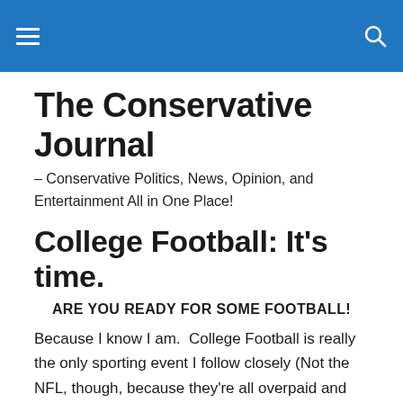The Conservative Journal [navigation bar with hamburger menu and search icon]
The Conservative Journal
– Conservative Politics, News, Opinion, and Entertainment All in One Place!
College Football: It's time.
ARE YOU READY FOR SOME FOOTBALL!
Because I know I am.  College Football is really the only sporting event I follow closely (Not the NFL, though, because they're all overpaid and full of themselves.  These are college kids playing to have fun. For the most part).  I mean I watch the other stuff, but something about college